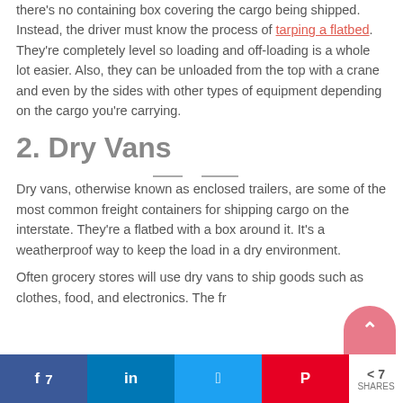there's no containing box covering the cargo being shipped.  Instead, the driver must know the process of tarping a flatbed. They're completely level so loading and off-loading is a whole lot easier. Also, they can be unloaded from the top with a crane and even by the sides with other types of equipment depending on the cargo you're carrying.
2. Dry Vans
Dry vans, otherwise known as enclosed trailers, are some of the most common freight containers for shipping cargo on the interstate. They're a flatbed with a box around it. It's a weatherproof way to keep the load in a dry environment.
Often grocery stores will use dry vans to ship goods such as clothes, food, and electronics. The fr
Share buttons: Facebook 7, LinkedIn, Twitter, Pinterest | 7 SHARES